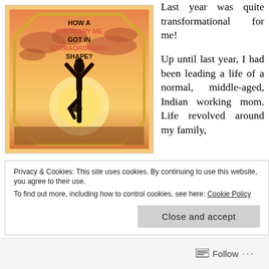[Figure (illustration): Book cover image showing a yoga tree-pose silhouette against a sunset sky, with text: HOW A ORDINARY ME GOT IN EXTRAORDINARY SHAPE?]
Last year was quite transformational for me!
Up until last year, I had been leading a life of a normal, middle-aged, Indian working mom. Life revolved around my family, work, home and my passion for traveling, writing, and socializing. Personal health and fitness remained a nagging
Privacy & Cookies: This site uses cookies. By continuing to use this website, you agree to their use.
To find out more, including how to control cookies, see here: Cookie Policy
Close and accept
Follow ...